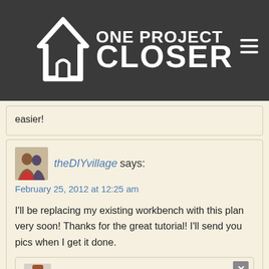[Figure (logo): One Project Closer logo with house icon and hamburger menu on dark gray header]
easier!
theDIYvillage says:
February 25, 2012 at 12:25 am

I'll be replacing my existing workbench with this plan very soon! Thanks for the great tutorial! I'll send you pics when I get it done.
Ethan says:
February 26, 2012 at 2:16 pm